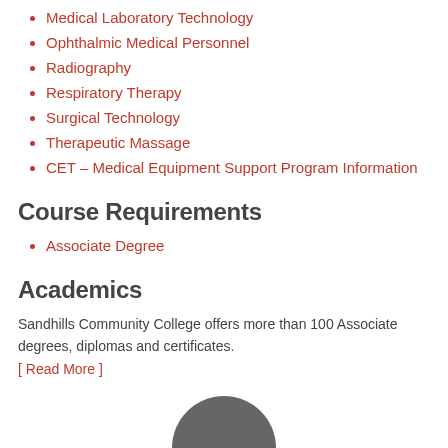Medical Laboratory Technology
Ophthalmic Medical Personnel
Radiography
Respiratory Therapy
Surgical Technology
Therapeutic Massage
CET – Medical Equipment Support Program Information
Course Requirements
Associate Degree
Academics
Sandhills Community College offers more than 100 Associate degrees, diplomas and certificates.
[ Read More ]
[Figure (illustration): Partial circular logo or graphic at the bottom center of the page]